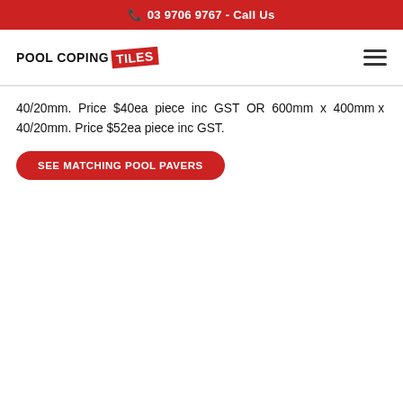📞 03 9706 9767 - Call Us
[Figure (logo): Pool Coping Tiles logo with red diagonal 'TILES' badge]
40/20mm. Price $40ea piece inc GST OR 600mm x 400mm x 40/20mm. Price $52ea piece inc GST.
SEE MATCHING POOL PAVERS